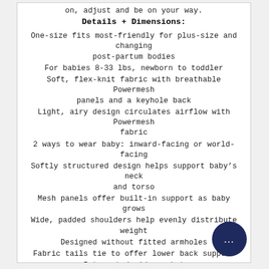on, adjust and be on your way.
Details + Dimensions:
One-size fits most-friendly for plus-size and changing post-partum bodies
For babies 8-33 lbs, newborn to toddler
Soft, flex-knit fabric with breathable Powermesh panels and a keyhole back
Light, airy design circulates airflow with Powermesh fabric
2 ways to wear baby: inward-facing or world-facing
Softly structured design helps support baby's neck and torso
Mesh panels offer built-in support as baby grows
Wide, padded shoulders help evenly distribute weight
Designed without fitted armholes
Fabric tails tie to offer lower back support
Integrated side pocket
Includes Pacifier clip
Hands-free convenience
Machine-washable